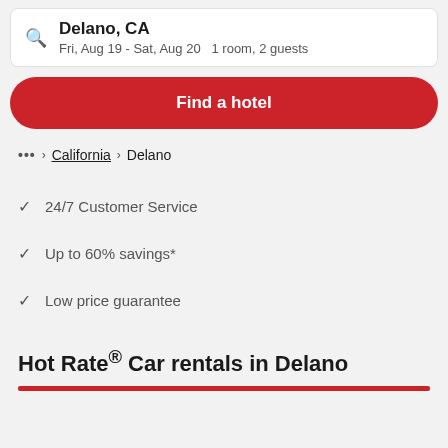Delano, CA
Fri, Aug 19 - Sat, Aug 20  1 room, 2 guests
Find a hotel
... > California > Delano
24/7 Customer Service
Up to 60% savings*
Low price guarantee
Hot Rate® Car rentals in Delano